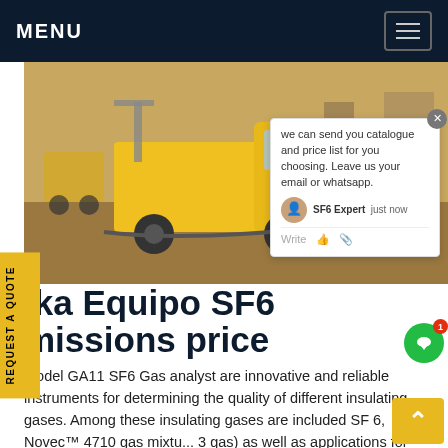MENU
[Figure (photo): Yellow Isuzu truck at a construction/industrial site with equipment and hoses]
we can send you catalogue and price list for you choosing. Leave us your email or whatsapp.
ika Equipo SF6 missions price
model GA11 SF6 Gas analyst are innovative and reliable instruments for determining the quality of different insulating gases. Among these insulating gases are included SF 6, Novec™ 4710 gas mixtu... 3 gas) as well as applications for technical air (clean...